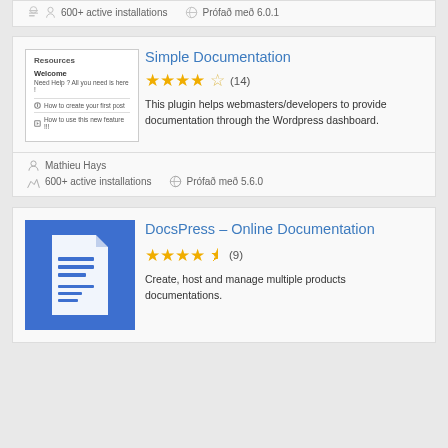600+ active installations   Prófað með 6.0.1
Simple Documentation
[Figure (screenshot): Screenshot of Simple Documentation plugin showing a Resources panel with Welcome section and links to 'How to create your first post' and 'How to use this new feature!!']
★★★★☆ (14)
This plugin helps webmasters/developers to provide documentation through the Wordpress dashboard.
Mathieu Hays
600+ active installations   Prófað með 5.6.0
DocsPress – Online Documentation
[Figure (logo): Blue square icon with white document/page graphic for DocsPress plugin]
★★★★½ (9)
Create, host and manage multiple products documentations.